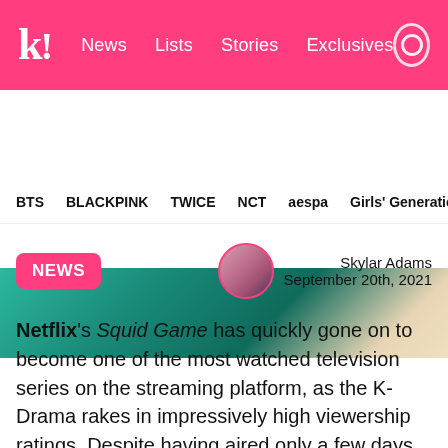k! News Lists Stories Exclusives
BTS BLACKPINK TWICE NCT aespa Girls' Generation
[Figure (photo): Partial view of a person in a teal/green outfit, cropped hero image from Squid Game]
NEWS | Skylar Adams | September 20th, 2021
Netflix's Squid Game has quickly gone on to become one of the most watched television series on the streaming platform, as the K-Drama rakes in impressively high viewership ratings. Despite having aired only a few days ago, the series has started to experience viral popularity and with it, one of the actresses is also starting to make headlines.